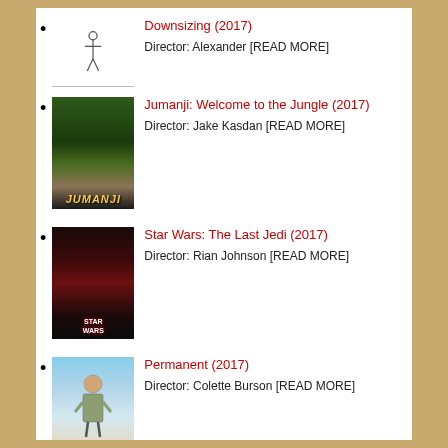Downsizing (2017) Director: Alexander [READ MORE]
Jumanji: Welcome to the Jungle (2017) Director: Jake Kasdan [READ MORE]
Star Wars: The Last Jedi (2017) Director: Rian Johnson [READ MORE]
Permanent (2017) Director: Colette Burson [READ MORE]